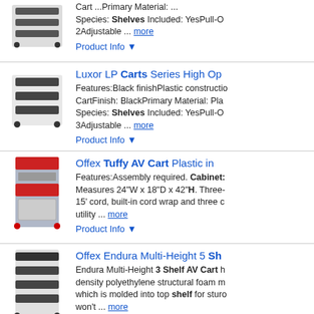[Figure (photo): Black plastic utility cart with shelves, top view cropped]
Cart ... Primary Material: ... Species: Shelves Included: YesPull-O 2Adjustable ... more
Product Info ▼
Luxor LP Carts Series High Op
[Figure (photo): Black plastic 3-shelf utility cart]
Features:Black finishPlastic constructio CartFinish: BlackPrimary Material: Pla Species: Shelves Included: YesPull-O 3Adjustable ... more
Product Info ▼
Offex Tuffy AV Cart Plastic in
[Figure (photo): Red and gray AV cart with cabinet and drawer]
Features:Assembly required. Cabinet: Measures 24"W x 18"D x 42"H. Three- 15' cord, built-in cord wrap and three c utility ... more
Product Info ▼
Offex Endura Multi-Height 5 Sh
[Figure (photo): Black 4-shelf AV cart]
Endura Multi-Height 3 Shelf AV Cart h density polyethylene structural foam m which is molded into top shelf for sturo won't ... more
Product Info ▼
Ads related to h wilson wt34gc2e b h wilson tuffy green